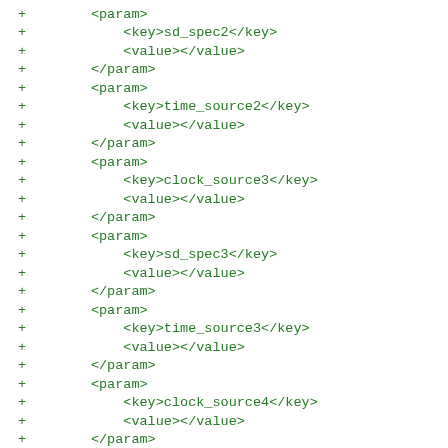+        <param>
+            <key>sd_spec2</key>
+            <value></value>
+        </param>
+        <param>
+            <key>time_source2</key>
+            <value></value>
+        </param>
+        <param>
+            <key>clock_source3</key>
+            <value></value>
+        </param>
+        <param>
+            <key>sd_spec3</key>
+            <value></value>
+        </param>
+        <param>
+            <key>time_source3</key>
+            <value></value>
+        </param>
+        <param>
+            <key>clock_source4</key>
+            <value></value>
+        </param>
+        <param>
+            <key>sd_spec4</key>
+            <value></value>
+        </param>
+        <param>
+            <key>time_source4</key>